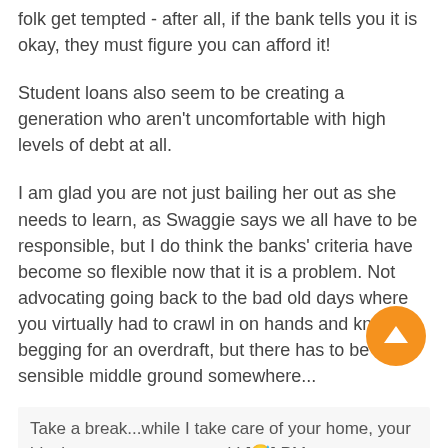folk get tempted - after all, if the bank tells you it is okay, they must figure you can afford it!
Student loans also seem to be creating a generation who aren't uncomfortable with high levels of debt at all.
I am glad you are not just bailing her out as she needs to learn, as Swaggie says we all have to be responsible, but I do think the banks' criteria have become so flexible now that it is a problem. Not advocating going back to the bad old days where you virtually had to crawl in on hands and knees begging for an overdraft, but there has to be some sensible middle ground somewhere...
Take a break...while I take care of your home, your block, your pets, your stock! [😅] PM me...